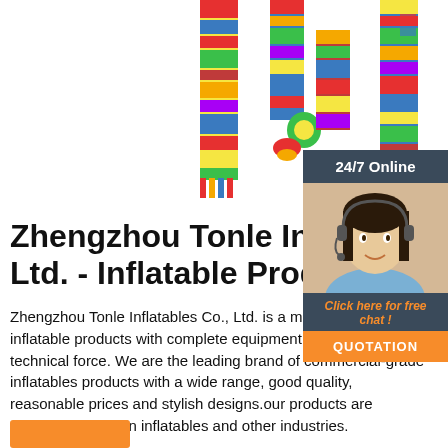[Figure (photo): Colorful inflatable product columns/towers in red, yellow, blue, green and other colors, photographed against white background]
[Figure (photo): Chat widget with woman wearing headset, '24/7 Online' header, 'Click here for free chat!' text, and orange QUOTATION button]
Zhengzhou Tonle Inflatab Ltd. - Inflatable Product
Zhengzhou Tonle Inflatables Co., Ltd. is a manufacturer of inflatable products with complete equipment and strong technical force. We are the leading brand of commercial-grade inflatables products with a wide range, good quality, reasonable prices and stylish designs.our products are extensively used in inflatables and other industries.